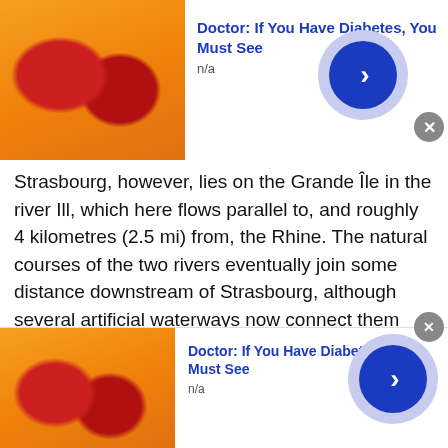[Figure (other): Advertisement banner at top: image of candy/gummies on left, title 'Doctor: If You Have Diabetes, You Must See' in blue bold text, 'n/a' below, blue arrow button on right with light purple circle background, gray close X button]
Strasbourg, however, lies on the Grande Île in the river Ill, which here flows parallel to, and roughly 4 kilometres (2.5 mi) from, the Rhine. The natural courses of the two rivers eventually join some distance downstream of Strasbourg, although several artificial waterways now connect them within the city. The city lies in the Upper Rhine Plain, at between 132 metr...
Source: Wikipedia (as of 03/30/2021). Read more from Wikipedia
This site uses cookies and other similar technologies to provide site functionality, analyze traffic and usage, and
[Figure (other): Advertisement banner at bottom: image of candy/gummies on left, title 'Doctor: If You Have Diabetes, You Must See' in blue bold text, 'n/a' below, blue arrow button on right with light purple circle background, gray close X button]